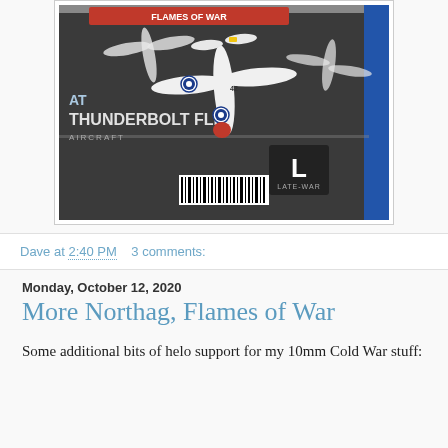[Figure (photo): Photo of a Flames of War P-47 Thunderbolt Flight box set, showing miniature WWII aircraft on top of the box. The box reads 'FLAMES OF WAR', 'THUNDERBOLT FLIGHT', 'LATE-WAR' with an 'L' icon, and shows a barcode.]
Dave at 2:40 PM    3 comments:
Monday, October 12, 2020
More Northag, Flames of War
Some additional bits of helo support for my 10mm Cold War stuff: